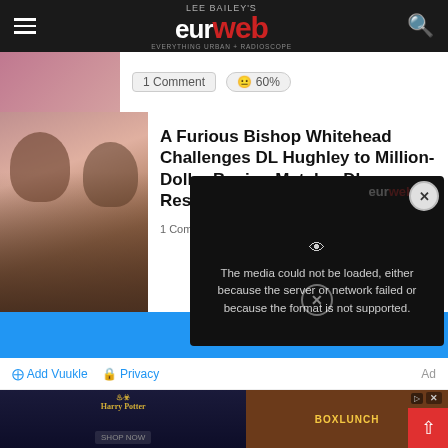Lee Bailey's eurweb — EVERYTHING URBAN + RADIOSCOPE
1 Comment  😐 60%
A Furious Bishop Whitehead Challenges DL Hughley to Million-Dollar Boxing Match – DL Responds | WATC...
1 Comm...
The media could not be loaded, either because the server or network failed or because the format is not supported.
Show
⊞ Add Vuukle  🔒 Privacy  Ad
[Figure (screenshot): Harry Potter and BoxLunch advertisement banner]